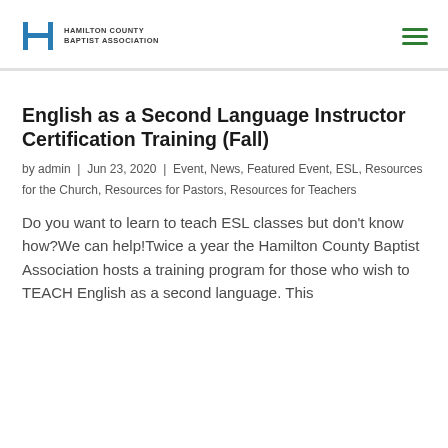HAMILTON COUNTY BAPTIST ASSOCIATION
English as a Second Language Instructor Certification Training (Fall)
by admin | Jun 23, 2020 | Event, News, Featured Event, ESL, Resources for the Church, Resources for Pastors, Resources for Teachers
Do you want to learn to teach ESL classes but don't know how?We can help!Twice a year the Hamilton County Baptist Association hosts a training program for those who wish to TEACH English as a second language. This